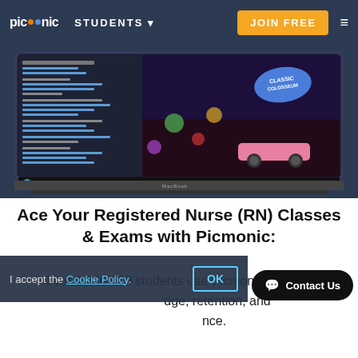picmonic  STUDENTS  JOIN FREE
[Figure (screenshot): Picmonic learning platform screenshot showing a video lesson interface with an animated game scene featuring colorful cartoon characters, a pink car, a 'Classic Colosseum' badge, displayed on a MacBook laptop.]
Ace Your Registered Nurse (RN) Classes & Exams with Picmonic:
Over 1,440,000 students use Picmonic's picture  knowledge, retention, and  nce.
I accept the Cookie Policy.  OK
Contact Us